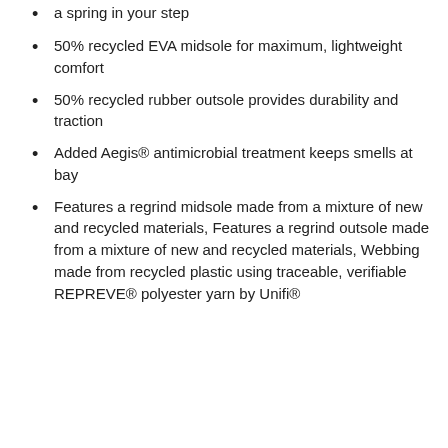a spring in your step
50% recycled EVA midsole for maximum, lightweight comfort
50% recycled rubber outsole provides durability and traction
Added Aegis® antimicrobial treatment keeps smells at bay
Features a regrind midsole made from a mixture of new and recycled materials, Features a regrind outsole made from a mixture of new and recycled materials, Webbing made from recycled plastic using traceable, verifiable REPREVE® polyester yarn by Unifi®